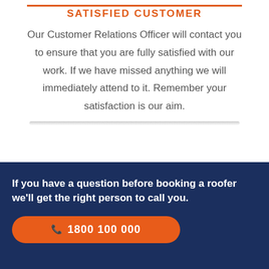SATISFIED CUSTOMER
Our Customer Relations Officer will contact you to ensure that you are fully satisfied with our work. If we have missed anything we will immediately attend to it. Remember your satisfaction is our aim.
If you have a question before booking a roofer we'll get the right person to call you.
1800 100 000